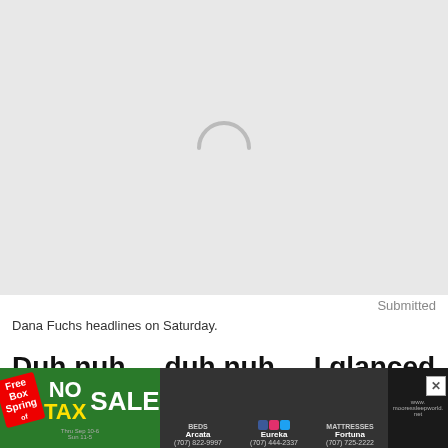[Figure (photo): Loading placeholder area with light gray background and a spinner arc icon in the center]
Submitted
Dana Fuchs headlines on Saturday.
Duh nuh ... duh nuh ... I glanced at my calendar... Duh nuh ... duh nuh ... It said August was done...
[Figure (photo): Advertisement banner: Moore's Sleep World No Tax Sale advertisement with store locations in Arcata, Eureka, Fortuna and website mooressleepworld.net]